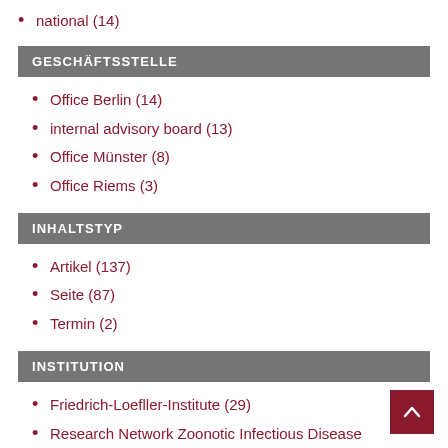national (14)
GESCHÄFTSSTELLE
Office Berlin (14)
internal advisory board (13)
Office Münster (8)
Office Riems (3)
INHALTSTYP
Artikel (137)
Seite (87)
Termin (2)
INSTITUTION
Friedrich-Loefller-Institute (29)
Research Network Zoonotic Infectious Disease